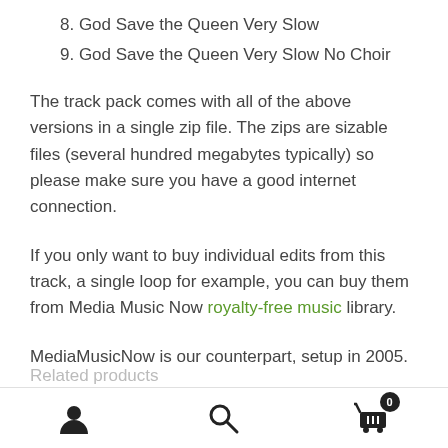8. God Save the Queen Very Slow
9. God Save the Queen Very Slow No Choir
The track pack comes with all of the above versions in a single zip file. The zips are sizable files (several hundred megabytes typically) so please make sure you have a good internet connection.
If you only want to buy individual edits from this track, a single loop for example, you can buy them from Media Music Now royalty-free music library.
MediaMusicNow is our counterpart, setup in 2005.
User icon | Search icon | Cart 0